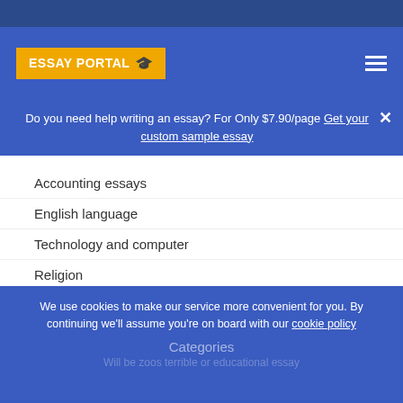ESSAY PORTAL
Do you need help writing an essay? For Only $7.90/page Get your custom sample essay
Accounting essays
English language
Technology and computer
Religion
Sports
Skill essays
Wellness
Hypotheses
House animals
We use cookies to make our service more convenient for you. By continuing we'll assume you're on board with our cookie policy